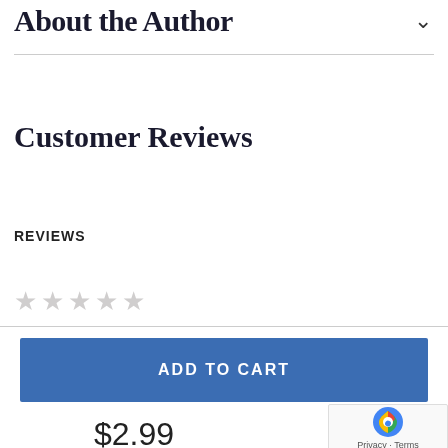About the Author
Customer Reviews
REVIEWS
[Figure (other): Five empty/light gray star rating icons]
ADD TO CART
$2.99
[Figure (logo): reCAPTCHA badge with Google logo and Privacy · Terms text]